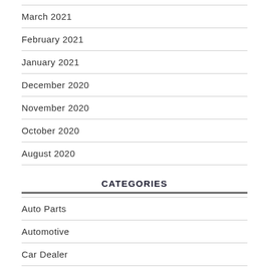March 2021
February 2021
January 2021
December 2020
November 2020
October 2020
August 2020
CATEGORIES
Auto Parts
Automotive
Car Dealer